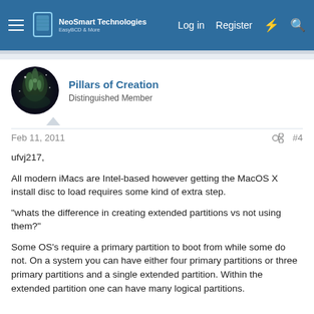NeoSmart Technologies | Log in | Register
Pillars of Creation
Distinguished Member
Feb 11, 2011  #4
ufvj217,

All modern iMacs are Intel-based however getting the MacOS X install disc to load requires some kind of extra step.

"whats the difference in creating extended partitions vs not using them?"

Some OS's require a primary partition to boot from while some do not. On a system you can have either four primary partitions or three primary partitions and a single extended partition. Within the extended partition one can have many logical partitions.